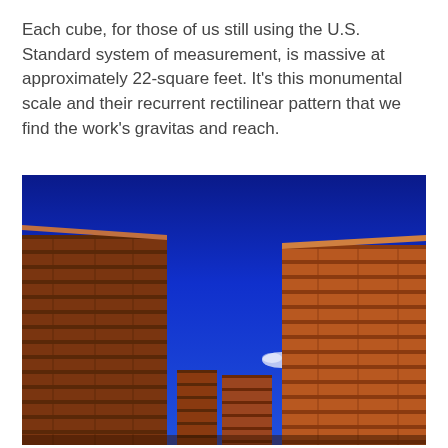Each cube, for those of us still using the U.S. Standard system of measurement, is massive at approximately 22-square feet. It’s this monumental scale and their recurrent rectilinear pattern that we find the work’s gravitas and reach.
[Figure (photo): Photograph taken from ground level between two tall stacks of terracotta/orange-brown bricks or clay blocks arranged in a corridor pattern, with a deep blue sky visible between and above the stacks. Smaller stacks visible in the background.]